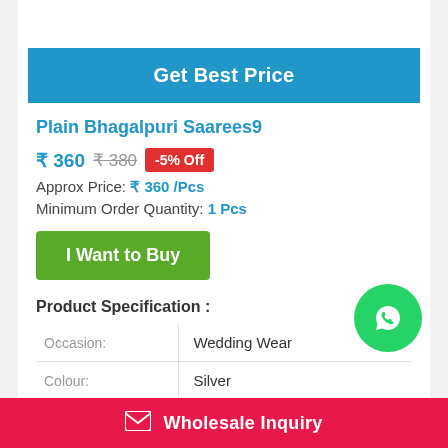Get Best Price
Plain Bhagalpuri Saarees9
₹ 360  ₹ 380  -5% Off
Approx Price: ₹ 360 /Pcs
Minimum Order Quantity: 1 Pcs
I Want to Buy
Product Specification :
|  |  |
| --- | --- |
| Occasion: | Wedding Wear |
| Colour: | Silver |
[Figure (logo): WhatsApp icon green circle button]
Wholesale Inquiry